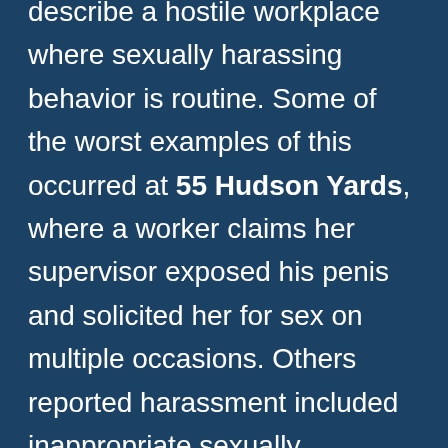describe a hostile workplace where sexually harassing behavior is routine. Some of the worst examples of this occurred at 55 Hudson Yards, where a worker claims her supervisor exposed his penis and solicited her for sex on multiple occasions. Others reported harassment included inappropriate sexually demeaning comments, and cat calling.